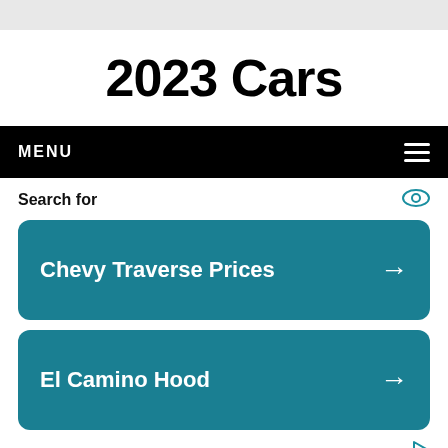2023 Cars
MENU
Search for
Chevy Traverse Prices →
El Camino Hood →
Yahoo! Search | Sponsored